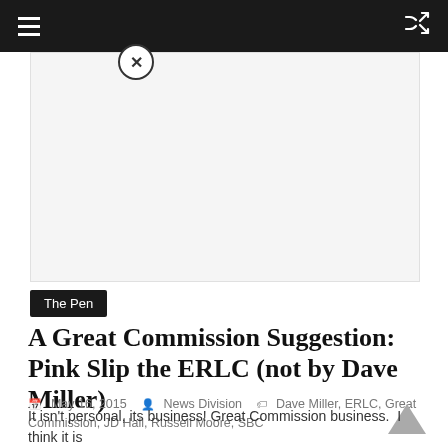≡   ⇄
[Figure (other): Advertisement placeholder area, white/light gray rectangle]
The Pen
A Great Commission Suggestion: Pink Slip the ERLC (not by Dave Miller)
May 16, 2015   News Division   Dave Miller, ERLC, Great Commission, JD Hall, Russell Moore, SBC
It isn't personal, its business! Great Commission business.  I think it is